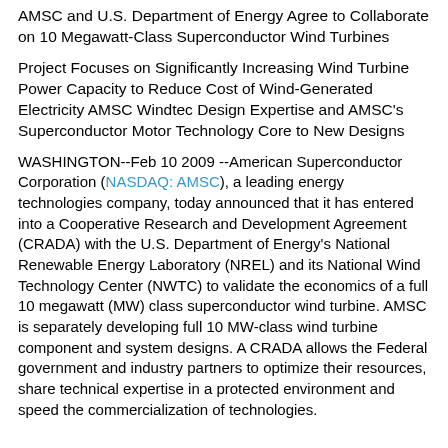AMSC and U.S. Department of Energy Agree to Collaborate on 10 Megawatt-Class Superconductor Wind Turbines
Project Focuses on Significantly Increasing Wind Turbine Power Capacity to Reduce Cost of Wind-Generated Electricity AMSC Windtec Design Expertise and AMSC's Superconductor Motor Technology Core to New Designs
WASHINGTON--Feb 10 2009 --American Superconductor Corporation (NASDAQ: AMSC), a leading energy technologies company, today announced that it has entered into a Cooperative Research and Development Agreement (CRADA) with the U.S. Department of Energy's National Renewable Energy Laboratory (NREL) and its National Wind Technology Center (NWTC) to validate the economics of a full 10 megawatt (MW) class superconductor wind turbine. AMSC is separately developing full 10 MW-class wind turbine component and system designs. A CRADA allows the Federal government and industry partners to optimize their resources, share technical expertise in a protected environment and speed the commercialization of technologies.